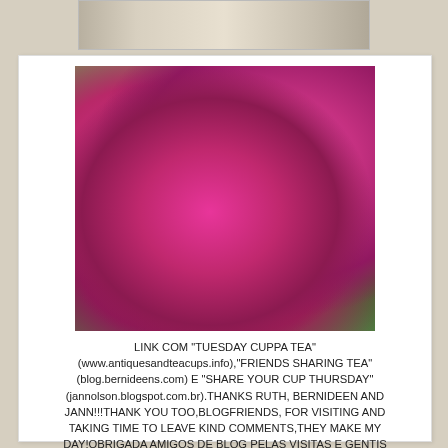[Figure (photo): Partial photo strip at top showing teacups/tableware on beige background]
[Figure (photo): Large bouquet of vibrant pink/magenta chrysanthemum flowers arranged in a basket, photographed from above on a white lace cloth]
LINK COM "TUESDAY CUPPA TEA" (www.antiquesandteacups.info),"FRIENDS SHARING TEA" (blog.bernideens.com) E "SHARE YOUR CUP THURSDAY" (jannolson.blogspot.com.br).THANKS RUTH, BERNIDEEN AND JANN!!!THANK YOU TOO,BLOGFRIENDS, FOR VISITING AND TAKING TIME TO LEAVE KIND COMMENTS,THEY MAKE MY DAY!OBRIGADA AMIGOS DE BLOG PELAS VISITAS E GENTIS COMENTÁRIOS,ELES ME FAZEM FELIZ!